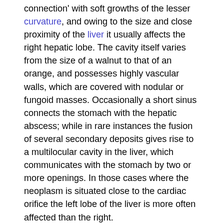connection' with soft growths of the lesser curvature, and owing to the size and close proximity of the liver it usually affects the right hepatic lobe. The cavity itself varies from the size of a walnut to that of an orange, and possesses highly vascular walls, which are covered with nodular or fungoid masses. Occasionally a short sinus connects the stomach with the hepatic abscess; while in rare instances the fusion of several secondary deposits gives rise to a multilocular cavity in the liver, which communicates with the stomach by two or more openings. In those cases where the neoplasm is situated close to the cardiac orifice the left lobe of the liver is more often affected than the right.
The frequent invasion of the gall-bladder by growths of the pylorus usually leads to its complete destruction. Occasionally, however, when bilious obstruction has previously arisen from pressure upon the common duct, subsequent perforation of the gall-bladder gives rise to the formation of a gastro-biliary fistula, but this condition rarely persists.
Implication of the pancreas, with the production of a cavity in its substance, is usually associated with a primary growth of the posterior wall of the stomach. Sometimes large pieces of the gland slough off and are found in the stomach or in the sac of the abscess; or the